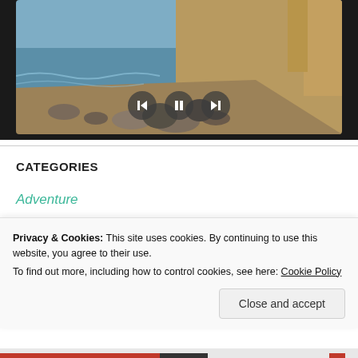[Figure (screenshot): Video player showing a beach scene with rocky shore, ocean waves, and a sandy cliff. Three circular control buttons are visible: left arrow, pause, and right arrow.]
CATEGORIES
Adventure
Privacy & Cookies: This site uses cookies. By continuing to use this website, you agree to their use.
To find out more, including how to control cookies, see here: Cookie Policy
Close and accept